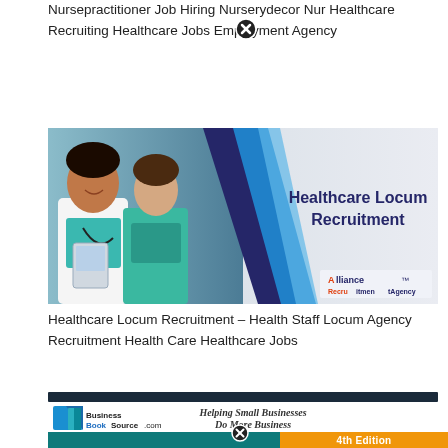Nursepractitioner Job Hiring Nurserydecor Nur Healthcare Recruiting Healthcare Jobs Employment Agency
[Figure (photo): Healthcare Locum Recruitment banner showing two healthcare workers in scrubs/white coat on the left, dark blue and light blue chevron geometric shapes in the middle, and bold text 'Healthcare Locum Recruitment' on the right with Alliance Recruitment Agency logo]
Healthcare Locum Recruitment – Health Staff Locum Agency Recruitment Health Care Healthcare Jobs
[Figure (logo): BusinessBookSource.com logo with blue and teal book icon graphic, text 'BusinessBookSource.com' and tagline 'Helping Small Businesses Do More Business' in italic bold, and '4th Edition' in orange badge at bottom right]